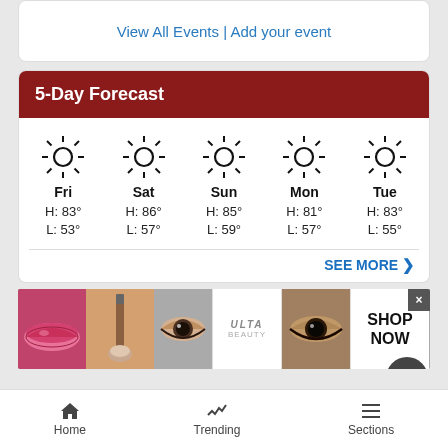View All Events | Add your event
5-Day Forecast
[Figure (infographic): 5-day weather forecast showing sunny icons for Fri through Tue with high and low temperatures. Fri H:83° L:53°, Sat H:86° L:57°, Sun H:85° L:59°, Mon H:81° L:57°, Tue H:83° L:55°]
SEE MORE >
[Figure (photo): Ulta Beauty advertisement banner showing makeup and cosmetics imagery with SHOP NOW call to action]
Home | Trending | Sections